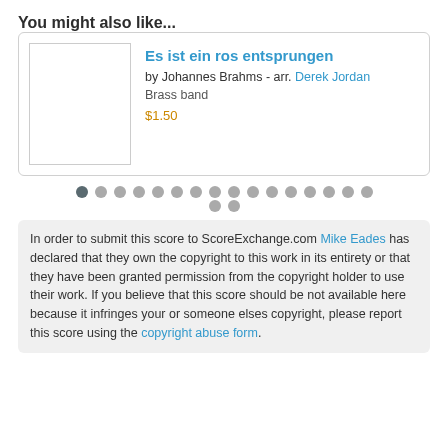You might also like...
Es ist ein ros entsprungen
by Johannes Brahms - arr. Derek Jordan
Brass band
$1.50
[Figure (other): Pagination dots: 18 dots in two rows, first dot active (dark), rest light gray]
In order to submit this score to ScoreExchange.com Mike Eades has declared that they own the copyright to this work in its entirety or that they have been granted permission from the copyright holder to use their work. If you believe that this score should be not available here because it infringes your or someone elses copyright, please report this score using the copyright abuse form.